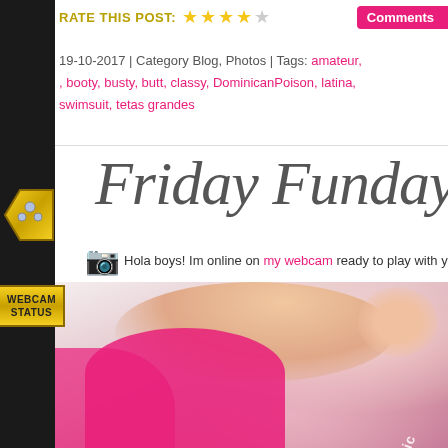RATE THIS POST:
Comments
19-10-2017 | Category Blog, Photos | Tags: amateur, , booty, busty, butt, classy, DominicanPoison, latina, swimsuit, tetas grandes
Friday Funday
Hola boys! Im online on my webcam ready to play with you i...
WEBCAM STATUS
[Figure (photo): Photo of a woman in a pink swimsuit, watermarked @mizz_dominic]